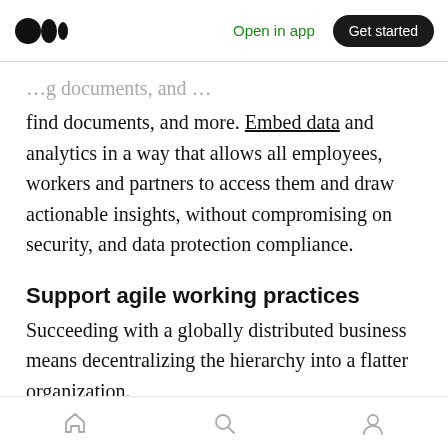Open in app | Get started
find documents, and more. Embed data and analytics in a way that allows all employees, workers and partners to access them and draw actionable insights, without compromising on security, and data protection compliance.
Support agile working practices
Succeeding with a globally distributed business means decentralizing the hierarchy into a flatter organization.
The fast-paced business world favors small,
Home | Search | Profile